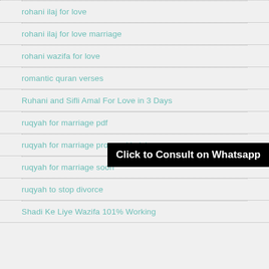rohani ilaj for love
rohani ilaj for love marriage
rohani wazifa for love
romantic quran verses
Ruhani and Sifli Amal For Love in 3 Days
ruqyah for marriage pdf
ruqyah for marriage proposal in islam
ruqyah for marriage soon
ruqyah to stop divorce
Shadi Ke Liye Wazifa 101% Working
Click to Consult on Whatsapp